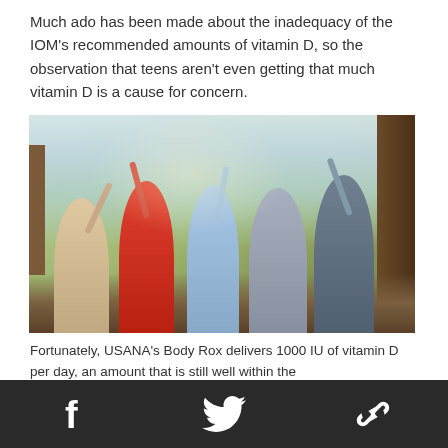Much ado has been made about the inadequacy of the IOM's recommended amounts of vitamin D, so the observation that teens aren't even getting that much vitamin D is a cause for concern.
[Figure (photo): Group of young people outdoors in a wooded area with arms raised, smiling and celebrating]
Fortunately, USANA's Body Rox delivers 1000 IU of vitamin D per day, an amount that is still well within the
Social media icons: Facebook, Twitter, Link